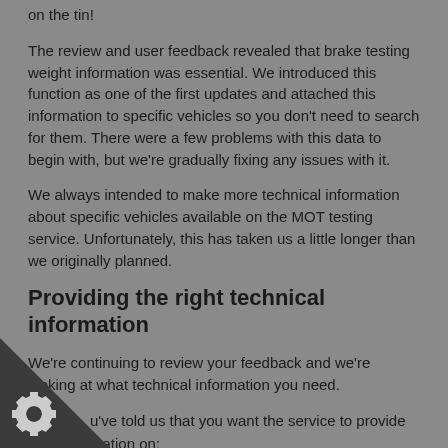on the tin!
The review and user feedback revealed that brake testing weight information was essential. We introduced this function as one of the first updates and attached this information to specific vehicles so you don't need to search for them. There were a few problems with this data to begin with, but we're gradually fixing any issues with it.
We always intended to make more technical information about specific vehicles available on the MOT testing service. Unfortunately, this has taken us a little longer than we originally planned.
Providing the right technical information
We're continuing to review your feedback and we're looking at what technical information you need.
You've told us that you want the service to provide information on: